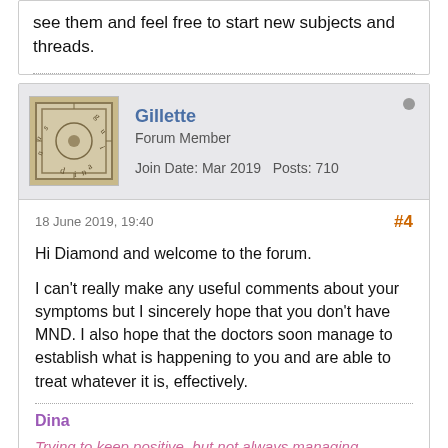see them and feel free to start new subjects and threads.
Gillette
Forum Member
Join Date: Mar 2019    Posts: 710
18 June 2019, 19:40
#4
Hi Diamond and welcome to the forum.

I can't really make any useful comments about your symptoms but I sincerely hope that you don't have MND. I also hope that the doctors soon manage to establish what is happening to you and are able to treat whatever it is, effectively.
Dina
Trying to keep positive, but not always managing.